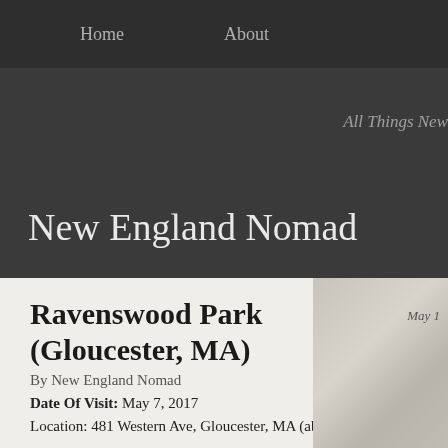Home   About
New England Nomad
All Things New
Ravenswood Park (Gloucester, MA)
By New England Nomad
Date Of Visit: May 7, 2017
Location: 481 Western Ave, Gloucester, MA (about 1 hour northwest of Bost